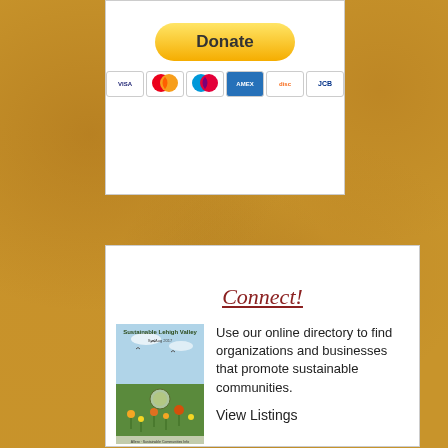[Figure (other): PayPal Donate button with payment card icons (Visa, Mastercard, Maestro, American Express, Discover, JCB) inside a white card]
[Figure (other): Magazine cover for 'Sustainable Lehigh Valley' showing a landscape painting with flowers and birds]
Connect!
Use our online directory to find organizations and businesses that promote sustainable communities.
View Listings